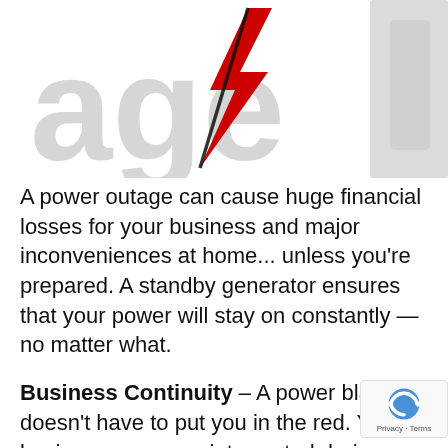[Figure (logo): Power outage company logo with large grey 'age' text and a red/black lightning bolt symbol, with a partial image of a generator on the right]
A power outage can cause huge financial losses for your business and major inconveniences at home... unless you're prepared. A standby generator ensures that your power will stay on constantly — no matter what.
Business Continuity – A power blackout doesn't have to put you in the red. Your business can go uninterrupted during inclement weather, power outages and just about anything else. Imagine what that can mean for your company. No need to worry about losing server access, halting projects, or